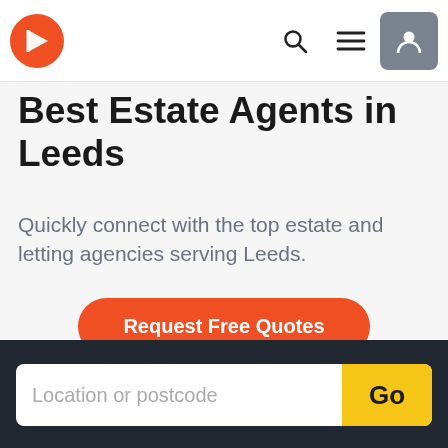Navigation bar with logo, search, menu, and profile icons
Best Estate Agents in Leeds
Quickly connect with the top estate and letting agencies serving Leeds.
[Figure (screenshot): Orange 'Request Free Quotes' call-to-action button with rounded pill shape]
[Figure (screenshot): Search bar with placeholder 'Location or postcode' and yellow 'Go' button on dark background]
Parklane Properties